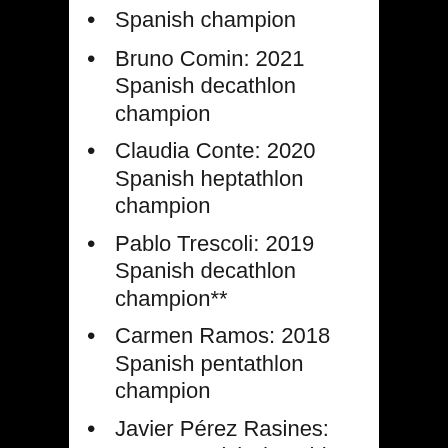Spanish champion
Bruno Comin: 2021 Spanish decathlon champion
Claudia Conte: 2020 Spanish heptathlon champion
Pablo Trescoli: 2019 Spanish decathlon champion**
Carmen Ramos: 2018 Spanish pentathlon champion
Javier Pérez Rasines: 2014 Spanish decathlon champion
Sofia Cosculluela
Jorge Dávila
Pablo Diaz
Ines García